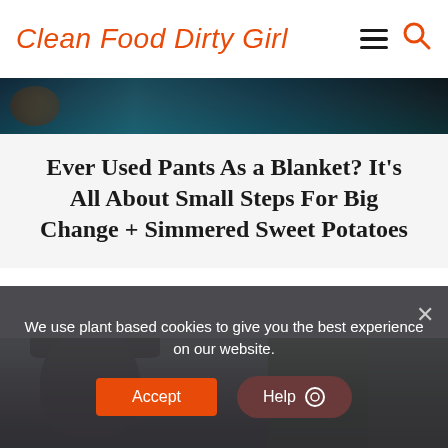Clean Food Dirty Girl
[Figure (photo): Top partial photo strip showing dark teal/blue background with orange circular shape, likely a bowl]
Ever Used Pants As a Blanket? It’s All About Small Steps For Big Change + Simmered Sweet Potatoes
[Figure (photo): Person wearing a dark hoodie/beanie outdoors, with green foliage and stone wall in background]
We use plant based cookies to give you the best experience on our website.
Accept
Help